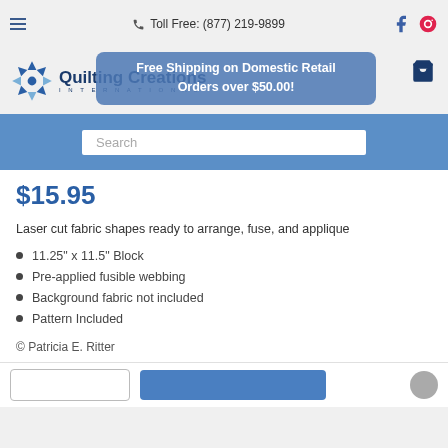≡  📞 Toll Free: (877) 219-9899  [Facebook] [Pinterest]
[Figure (logo): Quilting Creations International logo with flower/star made of fabric triangles in navy blue and light blue]
Free Shipping on Domestic Retail Orders over $50.00!
Search
$15.95
Laser cut fabric shapes ready to arrange, fuse, and applique
11.25" x 11.5" Block
Pre-applied fusible webbing
Background fabric not included
Pattern Included
© Patricia E. Ritter